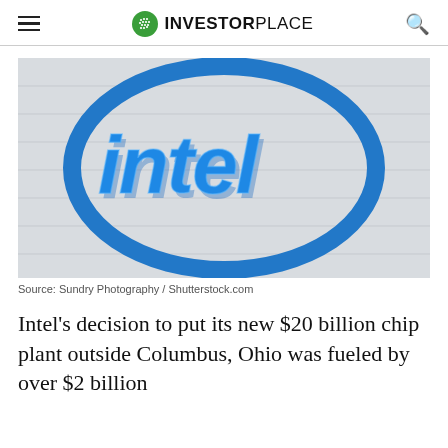INVESTORPLACE
[Figure (photo): Intel logo sign — large blue 3D 'intel' text inside a blue oval ring, mounted on a light gray wall]
Source: Sundry Photography / Shutterstock.com
Intel's decision to put its new $20 billion chip plant outside Columbus, Ohio was fueled by over $2 billion